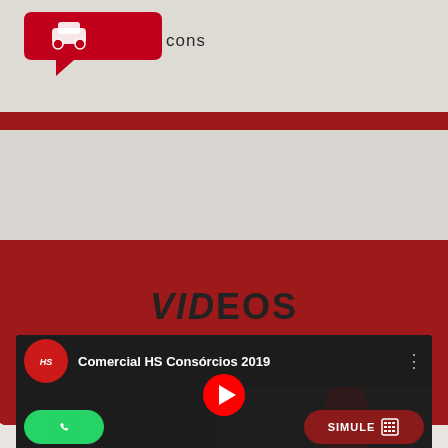[Figure (logo): HS Consórcios logo — red speech bubble with car icon and text 'consórcios' in dark letters]
VIDEOS
[Figure (screenshot): YouTube video embed: 'Comercial HS Consórcios 2019' with HS logo, play button, WhatsApp button and SIMULE button overlay]